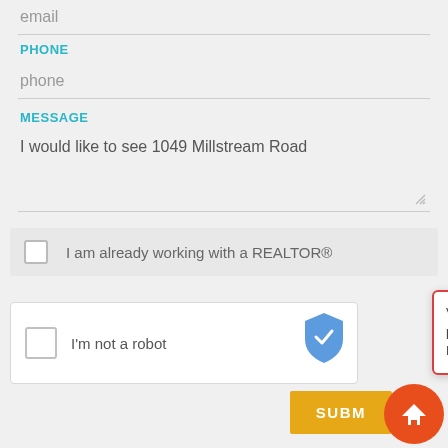email
PHONE
phone
MESSAGE
I would like to see 1049 Millstream Road
I am already working with a REALTOR®
I'm not a robot
View recently sold properties in British Properties at Fisherly.
SUBM